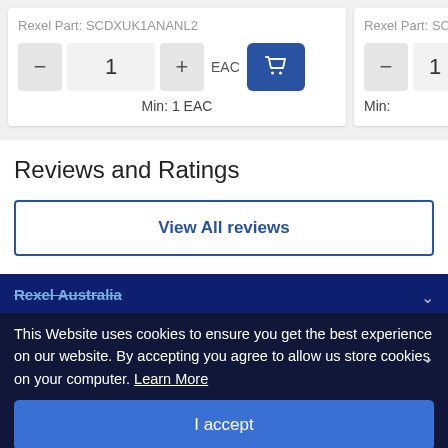Rexel Part: SCDXUK1ANANL2
Rexel Part: SCD
1 EAC
Min: 1 EAC
1
Min:
Reviews and Ratings
View All reviews
Rexel Australia
This Website uses cookies to ensure you get the best experience on our website. By accepting you agree to allow us store cookies on your computer. Learn More
I accept